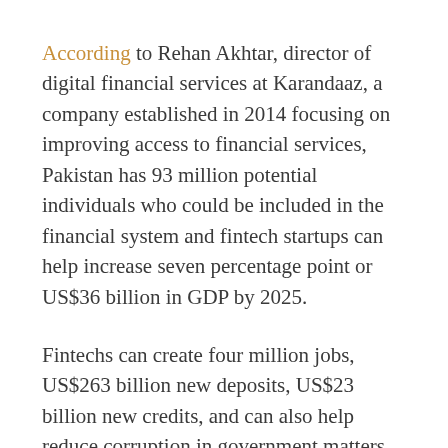According to Rehan Akhtar, director of digital financial services at Karandaaz, a company established in 2014 focusing on improving access to financial services, Pakistan has 93 million potential individuals who could be included in the financial system and fintech startups can help increase seven percentage point or US$36 billion in GDP by 2025.
Fintechs can create four million jobs, US$263 billion new deposits, US$23 billion new credits, and can also help reduce corruption in government matters by reducing US$7 billion in government leakages, Akhtar remarked.
With a total of 152 million cellular subscribers, covering 73% of the population, and 62 million broadband subscribers, Pakistan's high mobile phone and Internet penetration rates make the country fertile ground for digital and mobile financial